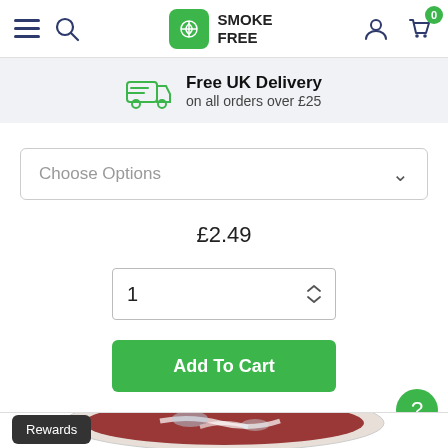Smoke Free – navigation bar with menu, search, logo, account, cart (0)
Free UK Delivery on all orders over £25
Choose Options
£2.49
1
Add To Cart
[Figure (photo): Bottom portion of a glass bowl containing dark red and white layered candy/sweets with ice, partially visible at the bottom of the page]
Rewards